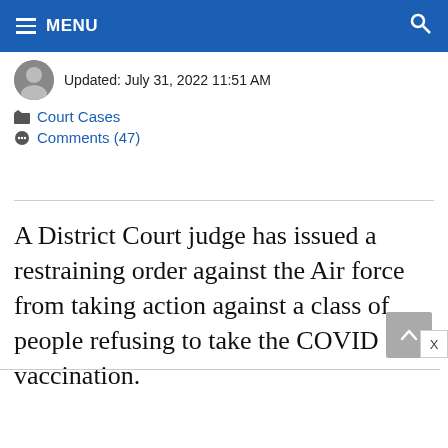MENU
Updated: July 31, 2022 11:51 AM
Court Cases
Comments (47)
A District Court judge has issued a restraining order against the Air force from taking action against a class of people refusing to take the COVID vaccination.